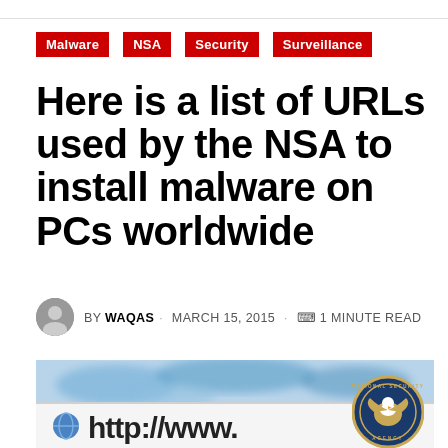Malware
NSA
Security
Surveillance
Here is a list of URLs used by the NSA to install malware on PCs worldwide
BY WAQAS · MARCH 15, 2015 · 1 MINUTE READ
[Figure (screenshot): Browser showing http://www with NSA seal in bottom right corner, blue world map background]